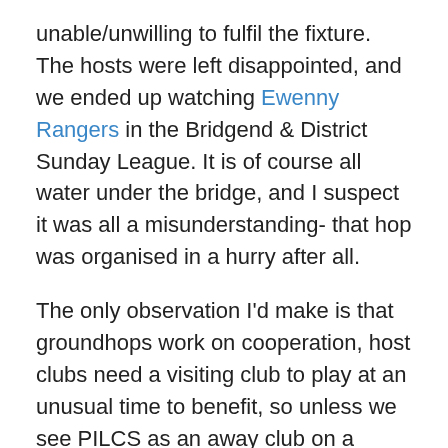unable/unwilling to fulfil the fixture. The hosts were left disappointed, and we ended up watching Ewenny Rangers in the Bridgend & District Sunday League. It is of course all water under the bridge, and I suspect it was all a misunderstanding- that hop was organised in a hurry after all.
The only observation I'd make is that groundhops work on cooperation, host clubs need a visiting club to play at an unusual time to benefit, so unless we see PILCS as an away club on a subsequent event I can't see us ever giving them the potential for a big pay-day as a host club.
So I headed to Pontypool fully intending to keep a low profile, I see no point in recriminations- what is done is done after all, but I did wondering how someone like me with clipboard one hand and a DSLR camera in the other